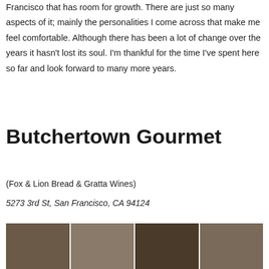Francisco that has room for growth. There are just so many aspects of it; mainly the personalities I come across that make me feel comfortable. Although there has been a lot of change over the years it hasn't lost its soul. I'm thankful for the time I've spent here so far and look forward to many more years.
Butchertown Gourmet
(Fox & Lion Bread & Gratta Wines)
5273 3rd St, San Francisco, CA 94124
[Figure (photo): A strip of photos showing the interior/exterior of Butchertown Gourmet, featuring wooden doors and windows in a rustic setting.]